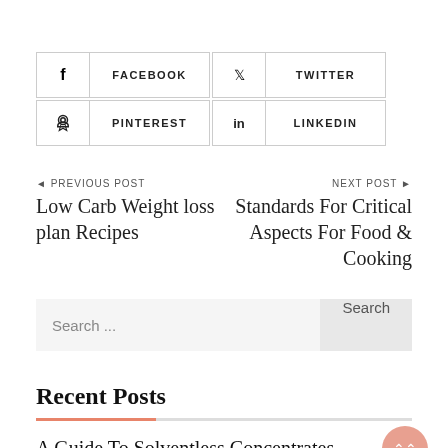[Figure (infographic): Social media share buttons: Facebook, Twitter, Pinterest, LinkedIn in a 2x2 grid]
◄ PREVIOUS POST
Low Carb Weight loss plan Recipes
NEXT POST ►
Standards For Critical Aspects For Food & Cooking
Search ...
Search
Recent Posts
A Guide To Solventless Concentrates